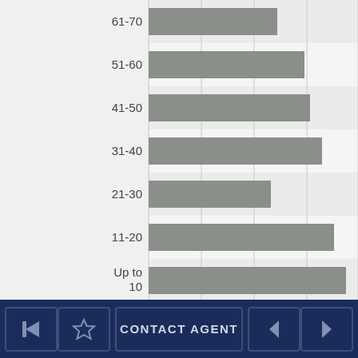[Figure (bar-chart): Age groups horizontal bar chart]
Back | Favourite | CONTACT AGENT | Previous | Next